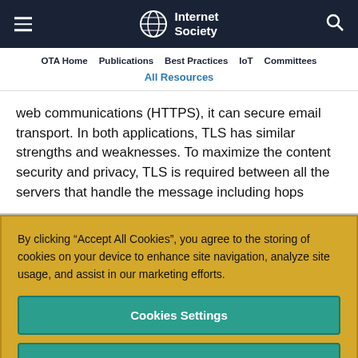Internet Society
OTA Home  Publications  Best Practices  IoT  Committees  All Resources
web communications (HTTPS), it can secure email transport. In both applications, TLS has similar strengths and weaknesses. To maximize the content security and privacy, TLS is required between all the servers that handle the message including hops
By clicking “Accept All Cookies”, you agree to the storing of cookies on your device to enhance site navigation, analyze site usage, and assist in our marketing efforts.
Cookies Settings
Reject Optional Cookies